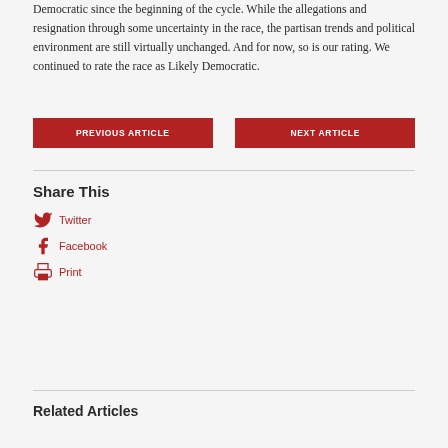Democratic since the beginning of the cycle. While the allegations and resignation through some uncertainty in the race, the partisan trends and political environment are still virtually unchanged. And for now, so is our rating. We continued to rate the race as Likely Democratic.
PREVIOUS ARTICLE
NEXT ARTICLE
Share This
Twitter
Facebook
Print
Related Articles